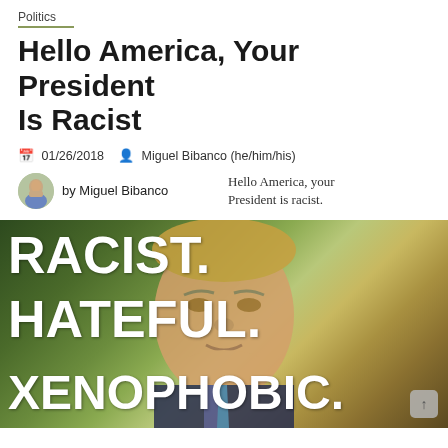Politics
Hello America, Your President Is Racist
01/26/2018  Miguel Bibanco (he/him/his)
by Miguel Bibanco   Hello America, your President is racist.
[Figure (photo): A photo of a person with overlaid white bold text reading 'RACIST. HATEFUL. XENOPHOBIC.' and a scroll-up button in the bottom right corner.]